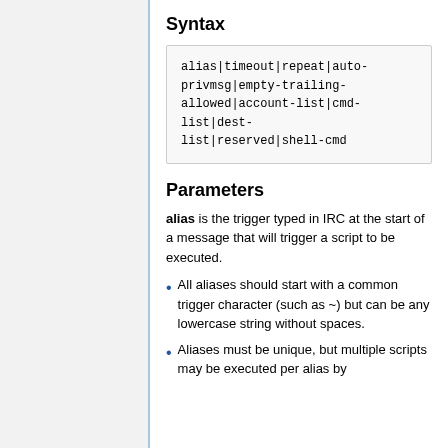Syntax
Parameters
alias is the trigger typed in IRC at the start of a message that will trigger a script to be executed.
All aliases should start with a common trigger character (such as ~) but can be any lowercase string without spaces.
Aliases must be unique, but multiple scripts may be executed per alias by